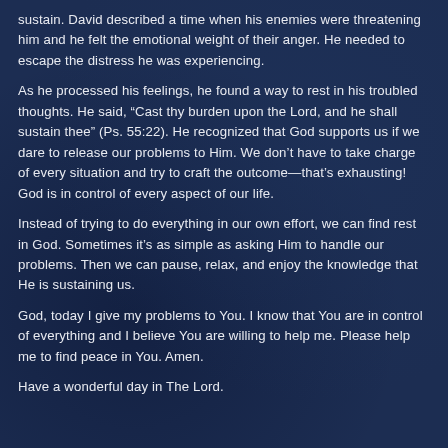sustain. David described a time when his enemies were threatening him and he felt the emotional weight of their anger. He needed to escape the distress he was experiencing.
As he processed his feelings, he found a way to rest in his troubled thoughts. He said, “Cast thy burden upon the Lord, and he shall sustain thee” (Ps. 55:22). He recognized that God supports us if we dare to release our problems to Him. We don’t have to take charge of every situation and try to craft the outcome—that’s exhausting! God is in control of every aspect of our life.
Instead of trying to do everything in our own effort, we can find rest in God. Sometimes it’s as simple as asking Him to handle our problems. Then we can pause, relax, and enjoy the knowledge that He is sustaining us.
God, today I give my problems to You. I know that You are in control of everything and I believe You are willing to help me. Please help me to find peace in You. Amen.
Have a wonderful day in The Lord.